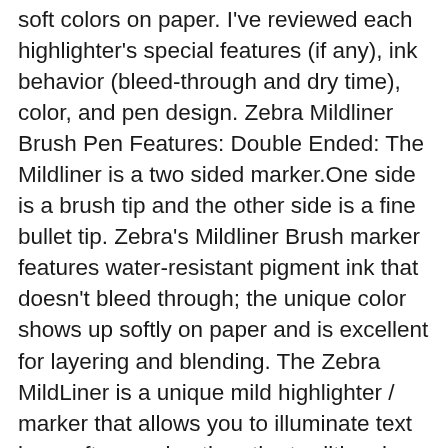soft colors on paper. I've reviewed each highlighter's special features (if any), ink behavior (bleed-through and dry time), color, and pen design. Zebra Mildliner Brush Pen Features: Double Ended: The Mildliner is a two sided marker.One side is a brush tip and the other side is a fine bullet tip. Zebra's Mildliner Brush marker features water-resistant pigment ink that doesn't bleed through; the unique color shows up softly on paper and is excellent for layering and blending. The Zebra MildLiner is a unique mild highlighter / marker that allows you to illuminate text in a softer version than the traditional bright highlighter colors. The Zebra Mildliner™ Brush Pen is conveniently double-ended with a paint brush-like tip and fine marker in one pen. Zebra Mildliner Brush Pens Individual or Set of 5 - Genuine Mildliner Brush Pen UK UndertheRowanTrees2. Are you looking for Zebra Stationery? Bestselling brands include Pilot, Uni, and Zebra. Available in Amazon S$ 16.92 S$ 17.07 Go to Shop. From shop HappyJournalingNK. Light blue corner are in the offer marker double Ended & 5ct Fluorescent Set Shop! Increased since the